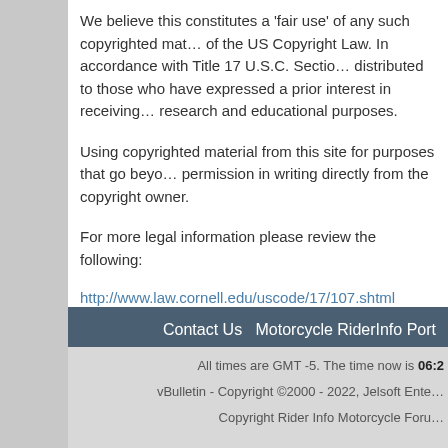We believe this constitutes a 'fair use' of any such copyrighted material as provided for in section 107 of the US Copyright Law. In accordance with Title 17 U.S.C. Section 107, the material on this site is distributed to those who have expressed a prior interest in receiving the included information for research and educational purposes.
Using copyrighted material from this site for purposes that go beyond 'fair use' requires permission in writing directly from the copyright owner.
For more legal information please review the following:
http://www.law.cornell.edu/uscode/17/107.shtml
If you are a copyright owner and want your content removed, please contact us and we will be happy to remove your content from our archives.
By reading, joining this forum, or posting here, you accept the above terms and agree to be bound by the terms herein.
Contact Us   Motorcycle RiderInfo Port
All times are GMT -5. The time now is 06:2
vBulletin - Copyright ©2000 - 2022, Jelsoft Ente
Copyright Rider Info Motorcycle Foru